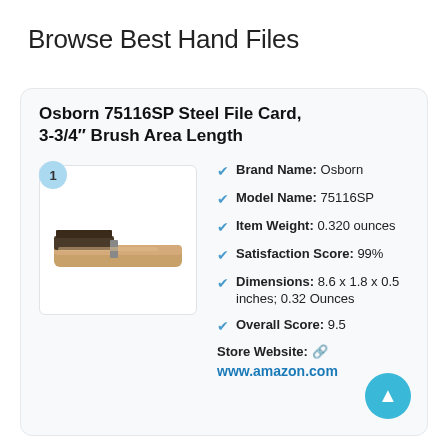Browse Best Hand Files
Osborn 75116SP Steel File Card, 3-3/4″ Brush Area Length
[Figure (photo): Product photo of the Osborn 75116SP steel file card brush with a wooden handle, shown from the side.]
Brand Name: Osborn
Model Name: 75116SP
Item Weight: 0.320 ounces
Satisfaction Score: 99%
Dimensions: 8.6 x 1.8 x 0.5 inches; 0.32 Ounces
Overall Score: 9.5
Store Website: 🔗
www.amazon.com